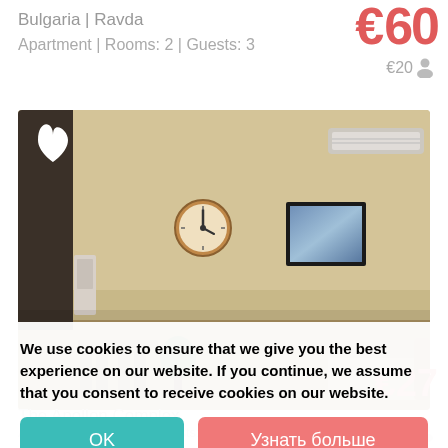Bulgaria | Ravda
Apartment | Rooms: 2 | Guests: 3
€60
€20 👤
[Figure (photo): Interior photo of an apartment living room with beige walls, a round wall clock, a wall-mounted TV/picture frame, an AC unit, and furniture including chairs and a sofa. A white heart icon is visible in the top-left corner of the image.]
We use cookies to ensure that we give you the best experience on our website. If you continue, we assume that you consent to receive cookies on our website.
OK
Узнать больше
The Apollon Complex
Bulgaria
€27
Apartment | Rooms: 2 | Guests: 4
€7 👤